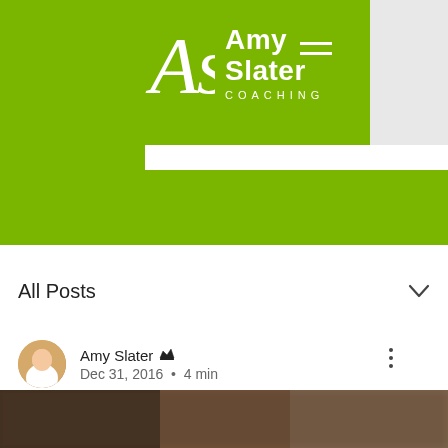Amy Slater COACHING
Post
All Posts
Amy Slater  Dec 31, 2016  •  4 min
How we use real food: from breakfast to dinner!
[Figure (photo): Blurred food photo at bottom of page]